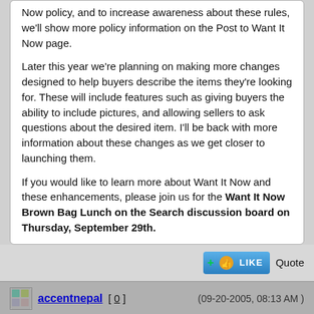Now policy, and to increase awareness about these rules, we'll show more policy information on the Post to Want It Now page.

Later this year we're planning on making more changes designed to help buyers describe the items they're looking for. These will include features such as giving buyers the ability to include pictures, and allowing sellers to ask questions about the desired item. I'll be back with more information about these changes as we get closer to launching them.

If you would like to learn more about Want It Now and these enhancements, please join us for the Want It Now Brown Bag Lunch on the Search discussion board on Thursday, September 29th.
[Figure (other): Like button with green plus icon and thumbs up, and Quote text link]
accentnepal [ 0 ]   (09-20-2005, 08:13 AM)
Some of that may help, particularly the ability to communicate with the buyer. I have seen people set up store listings in order to give a buyer information. I am afraid they got the report button thingee from Craig's list, where reporting postings has become an outlet for the socially inhibited.